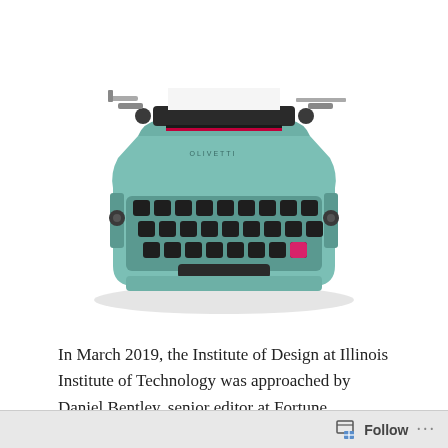[Figure (photo): A vintage mint/teal colored portable typewriter with black keys, a red and black ink ribbon visible, and chrome details, photographed from a slightly elevated angle against a white background.]
In March 2019, the Institute of Design at Illinois Institute of Technology was approached by Daniel Bentley, senior editor at Fortune magazine, to update